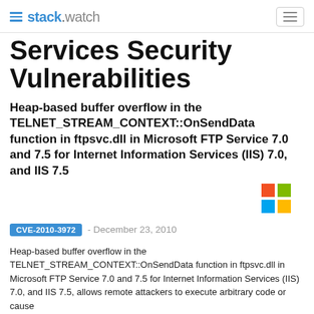stack.watch
Services Security Vulnerabilities
Heap-based buffer overflow in the TELNET_STREAM_CONTEXT::OnSendData function in ftpsvc.dll in Microsoft FTP Service 7.0 and 7.5 for Internet Information Services (IIS) 7.0, and IIS 7.5
[Figure (logo): Microsoft Windows logo — four colored squares in a 2x2 grid: red (top-left), green (top-right), blue (bottom-left), orange (bottom-right)]
CVE-2010-3972 - December 23, 2010
Heap-based buffer overflow in the TELNET_STREAM_CONTEXT::OnSendData function in ftpsvc.dll in Microsoft FTP Service 7.0 and 7.5 for Internet Information Services (IIS) 7.0, and IIS 7.5, allows remote attackers to execute arbitrary code or cause